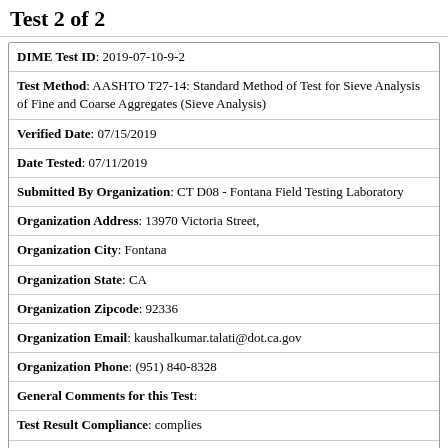Test 2 of 2
| DIME Test ID | 2019-07-10-9-2 |
| Test Method | AASHTO T27-14: Standard Method of Test for Sieve Analysis of Fine and Coarse Aggregates (Sieve Analysis) |
| Verified Date | 07/15/2019 |
| Date Tested | 07/11/2019 |
| Submitted By Organization | CT D08 - Fontana Field Testing Laboratory |
| Organization Address | 13970 Victoria Street, |
| Organization City | Fontana |
| Organization State | CA |
| Organization Zipcode | 92336 |
| Organization Email | kaushalkumar.talati@dot.ca.gov |
| Organization Phone | (951) 840-8328 |
| General Comments for this Test |  |
| Test Result Compliance | complies |
| Additional Comments When Verified |  |
| What type of gradation is being tested? | Combined Gradation |
| Does this test use 1/4 sieve? (question for HMA Gradation Type) | no data |
| Cumulative percent passing the 2 in. sieve | 100 % |